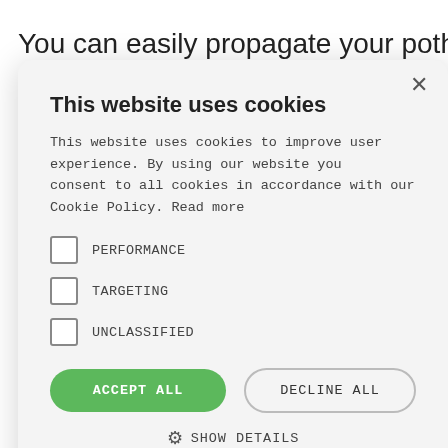You can easily propagate your pothos into
nding
done?
gation
nts from
our current
[Figure (screenshot): Cookie consent modal dialog with title 'This website uses cookies', body text about cookie policy, three unchecked checkboxes for PERFORMANCE, TARGETING, UNCLASSIFIED, an ACCEPT ALL green button, a DECLINE ALL outlined button, a SHOW DETAILS gear link, and POWERED BY COOKIE-SCRIPT footer text.]